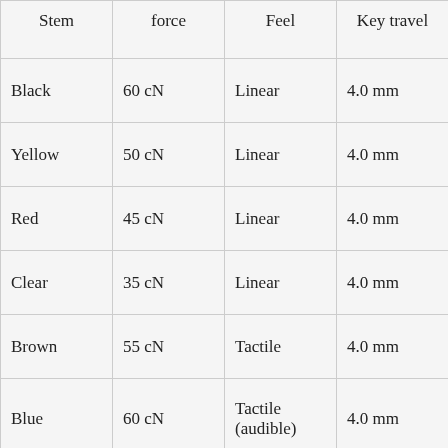| Stem | force | Feel | Key travel |
| --- | --- | --- | --- |
| Black | 60 cN | Linear | 4.0 mm |
| Yellow | 50 cN | Linear | 4.0 mm |
| Red | 45 cN | Linear | 4.0 mm |
| Clear | 35 cN | Linear | 4.0 mm |
| Brown | 55 cN | Tactile | 4.0 mm |
| Blue | 60 cN | Tactile (audible) | 4.0 mm |
| Green | 80 cN | Tactile | 4.0 mm |